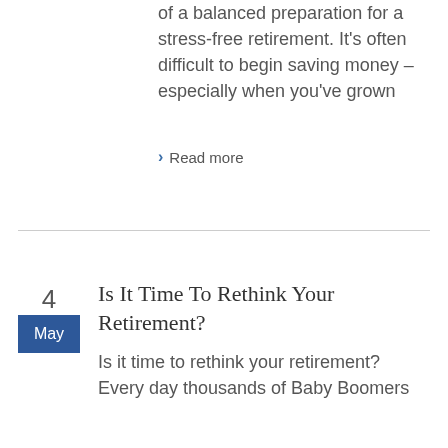of a balanced preparation for a stress-free retirement. It's often difficult to begin saving money – especially when you've grown
> Read more
Is It Time To Rethink Your Retirement?
Is it time to rethink your retirement? Every day thousands of Baby Boomers